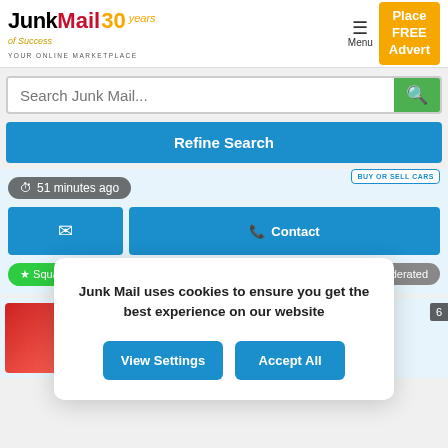[Figure (screenshot): JunkMail online marketplace website screenshot showing header with logo, search bar, refine search button, listing actions, and cookie consent banner]
JunkMail 30 years of success — YOUR ONLINE MARKETPLACE
Search Junk Mail...
Refine Search
BUY OR SELL CARS
51 minutes ago
Contact
★ Squad Cars P...
Moderated
Junk Mail uses cookies to ensure you get the best experience on our website
View Settings
Accept All
Feedback